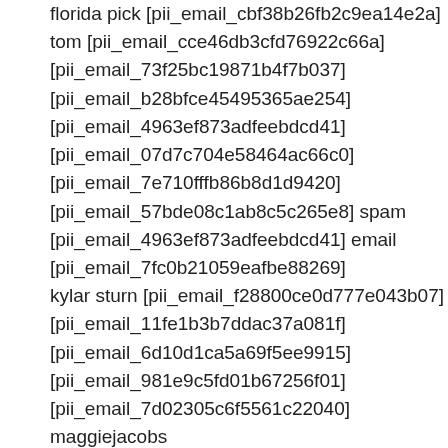florida pick [pii_email_cbf38b26fb2c9ea14e2a]
tom [pii_email_cce46db3cfd76922c66a]
[pii_email_73f25bc19871b4f7b037]
[pii_email_b28bfce45495365ae254]
[pii_email_4963ef873adfeebdcd41]
[pii_email_07d7c704e58464ac66c0]
[pii_email_7e710fffb86b8d1d9420]
[pii_email_57bde08c1ab8c5c265e8] spam
[pii_email_4963ef873adfeebdcd41] email
[pii_email_7fc0b21059eafbe88269]
kylar sturn [pii_email_f28800ce0d777e043b07]
[pii_email_11fe1b3b7ddac37a081f]
[pii_email_6d10d1ca5a69f5ee9915]
[pii_email_981e9c5fd01b67256f01]
[pii_email_7d02305c6f5561c22040]
maggiejacobs